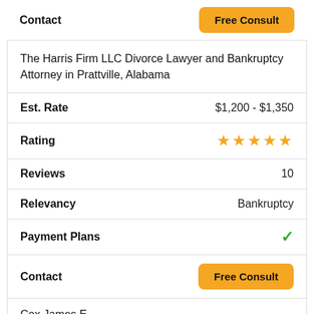Contact
The Harris Firm LLC Divorce Lawyer and Bankruptcy Attorney in Prattville, Alabama
| Field | Value |
| --- | --- |
| Est. Rate | $1,200 - $1,350 |
| Rating | ★★★★★ |
| Reviews | 10 |
| Relevancy | Bankruptcy |
| Payment Plans | ✓ |
| Contact | Free Consult |
Cox James E